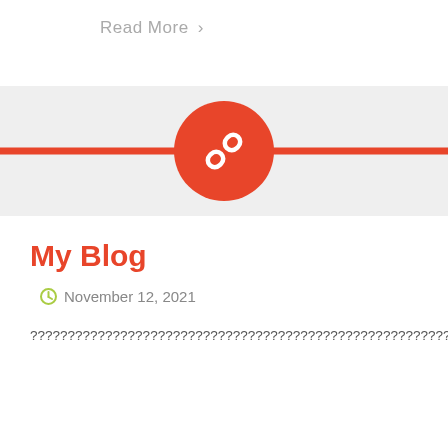Read More ›
[Figure (illustration): Red horizontal divider line with a red circle containing a white chain link icon centered on it]
My Blog
November 12, 2021
????????????????????????????????????????????????????????????????????????????????????????????????????????????????????????????????????????????????????????????????????????????????????????????????????????????????????????????????????????????????????????????????